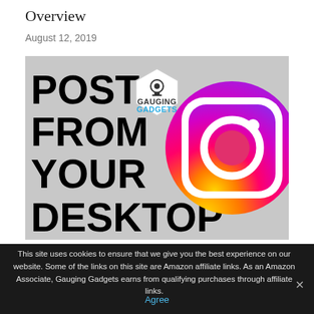Overview
August 12, 2019
[Figure (illustration): Promotional image with large bold text reading 'POST FROM YOUR DESKTOP' on a gray background, with the Gauging Gadgets hexagon logo and an Instagram logo icon on the right side.]
This site uses cookies to ensure that we give you the best experience on our website. Some of the links on this site are Amazon affiliate links. As an Amazon Associate, Gauging Gadgets earns from qualifying purchases through affiliate links.
Agree